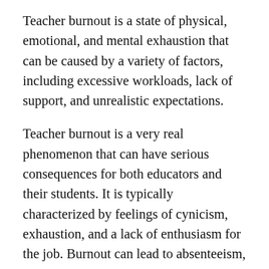Teacher burnout is a state of physical, emotional, and mental exhaustion that can be caused by a variety of factors, including excessive workloads, lack of support, and unrealistic expectations.
Teacher burnout is a very real phenomenon that can have serious consequences for both educators and their students. It is typically characterized by feelings of cynicism, exhaustion, and a lack of enthusiasm for the job. Burnout can lead to absenteeism, Increase turnover, and adversely affect job performance. In extreme cases, it can even result in physical or mental illness. Burnout is often caused by unrealistic job expectations, insufficient